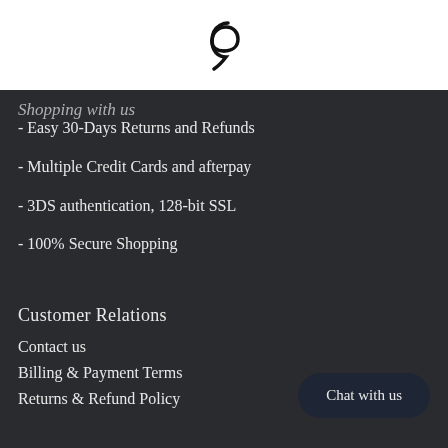[Figure (logo): Stylized letter P/e logo in black on white background]
Shopping with us
- Easy 30-Days Returns and Refunds
- Multiple Credit Cards and afterpay
- 3DS authentication, 128-bit SSL
- 100% Secure Shopping
Customer Relations
Contact us
Billing & Payment Terms
Returns & Refund Policy
Chat with us